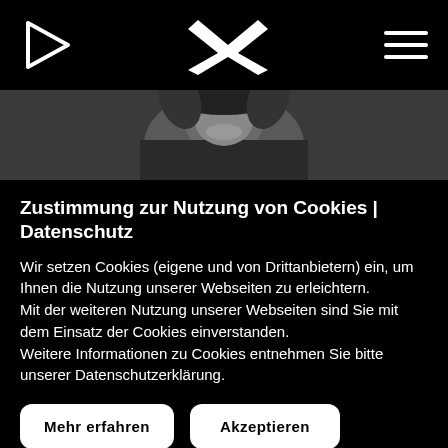Navigation header with play icon, X logo, and hamburger menu
[Figure (photo): Black and white photo of a person, partially visible, smiling, wearing dark clothing with feather-like details]
Zustimmung zur Nutzung von Cookies | Datenschutz
Wir setzen Cookies (eigene und von Drittanbietern) ein, um Ihnen die Nutzung unserer Webseiten zu erleichtern. Mit der weiteren Nutzung unserer Webseiten sind Sie mit dem Einsatz der Cookies einverstanden. Weitere Informationen zu Cookies entnehmen Sie bitte unserer Datenschutzerklärung.
Mehr erfahren
Akzeptieren